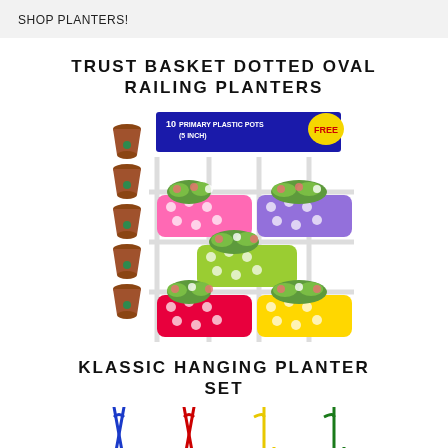SHOP PLANTERS!
TRUST BASKET DOTTED OVAL RAILING PLANTERS
[Figure (photo): Product image of Trust Basket Dotted Oval Railing Planters showing colorful polka-dot oval planters in pink, purple, green, red, and yellow, displayed on a white lattice fence with plants. On the left are 10 brown plastic pots. Banner at top says '10 PRIMARY PLASTIC POTS (5 INCH) FREE'.]
KLASSIC HANGING PLANTER SET
[Figure (photo): Partial product image of Klassic Hanging Planter Set showing four hanging hooks/hooks in blue, red, yellow, and green colors.]